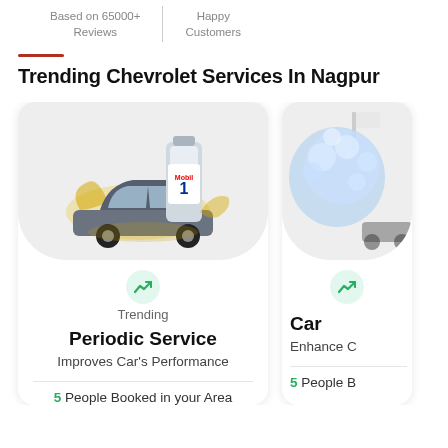Based on 65000+ Reviews
Happy Customers
Trending Chevrolet Services In Nagpur
[Figure (illustration): Service card showing a car with Mobil 1 engine oil bottle splash illustration, trending badge, service name 'Periodic Service', description 'Improves Car's Performance', and '5 People Booked in your Area']
[Figure (illustration): Partially visible service card showing a car wash sponge/foam illustration with text 'Car' visible and 'Enhance C' and '5 People B']